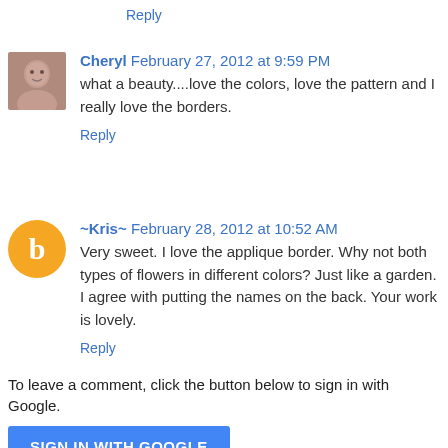Reply
Cheryl  February 27, 2012 at 9:59 PM
what a beauty....love the colors, love the pattern and I really love the borders.
Reply
~Kris~  February 28, 2012 at 10:52 AM
Very sweet. I love the applique border. Why not both types of flowers in different colors? Just like a garden. I agree with putting the names on the back. Your work is lovely.
Reply
To leave a comment, click the button below to sign in with Google.
SIGN IN WITH GOOGLE